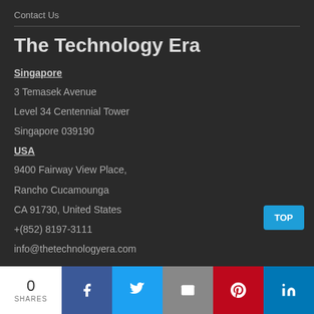Contact Us
The Technology Era
Singapore
3 Temasek Avenue
Level 34 Centennial Tower
Singapore 039190
USA
9400 Fairway View Place,
Rancho Cucamounga
CA 91730, United States
+(852) 8197-3111
info@thetechnologyera.com